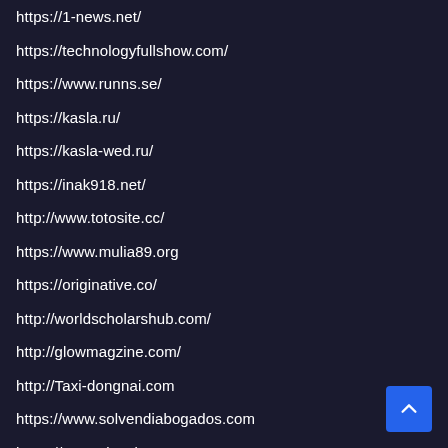https://1-news.net/
https://technologyfullshow.com/
https://www.runns.se/
https://kasla.ru/
https://kasla-wed.ru/
https://inak918.net/
http://www.totosite.cc/
https://www.mulia89.org
https://originative.co/
http://worldscholarshub.com/
http://glowmagzine.com/
http://Taxi-dongnai.com
https://www.solvendiabogados.com
https://www.viveelmeta.com
https://donjii.com/